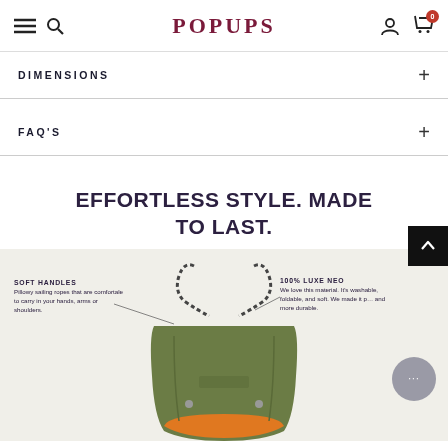POPUPS (navigation bar with menu, search, user, cart icons)
DIMENSIONS
FAQ'S
EFFORTLESS STYLE. MADE TO LAST.
[Figure (photo): Olive green tote bag with braided rope chain handles, shown with product feature annotations: SOFT HANDLES and 100% LUXE NEO labels]
SOFT HANDLES
Pillowy sailing ropes that are comfortable to carry in your hands, arms or shoulders.
100% LUXE NEO
We love this material. It's washable, foldable, and soft. We made it plus and more durable.